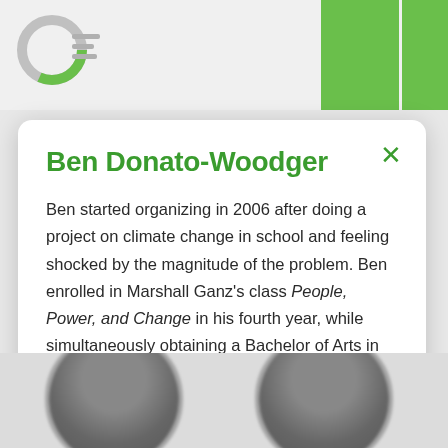Ben Donato-Woodger — website screenshot header
Ben Donato-Woodger
Ben started organizing in 2006 after doing a project on climate change in school and feeling shocked by the magnitude of the problem. Ben enrolled in Marshall Ganz's class People, Power, and Change in his fourth year, while simultaneously obtaining a Bachelor of Arts in Social Anthropology. He then brought back his knowledge of organizing to train organizers in the queer, climate, and progressive movements in Toronto and Etobicoke. He is a bit of a dog person.